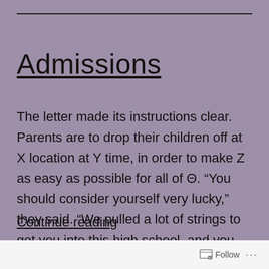Admissions
The letter made its instructions clear. Parents are to drop their children off at X location at Y time, in order to make Z as easy as possible for all of Θ. “You should consider yourself very lucky,” they said. “We pulled a lot of strings to get you into this high school, and you...
Continue reading
Follow ...